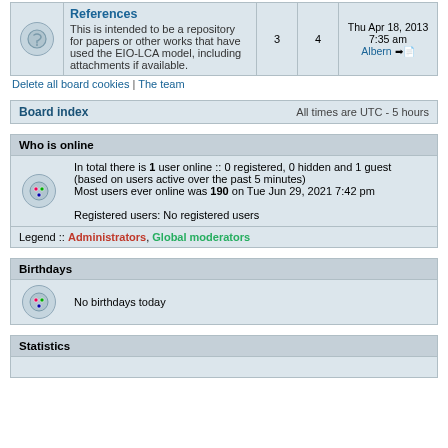|  | References | 3 | 4 | Thu Apr 18, 2013 7:35 am Albern |
| --- | --- | --- | --- | --- |
|  | This is intended to be a repository for papers or other works that have used the EIO-LCA model, including attachments if available. | 3 | 4 | Thu Apr 18, 2013 7:35 am Albern |
Delete all board cookies | The team
| Board index | All times are UTC - 5 hours |
| --- | --- |
| Who is online |
| --- |
| In total there is 1 user online :: 0 registered, 0 hidden and 1 guest (based on users active over the past 5 minutes) Most users ever online was 190 on Tue Jun 29, 2021 7:42 pm
Registered users: No registered users |
| Legend :: Administrators, Global moderators |
| Birthdays |
| --- |
| No birthdays today |
| Statistics |
| --- |